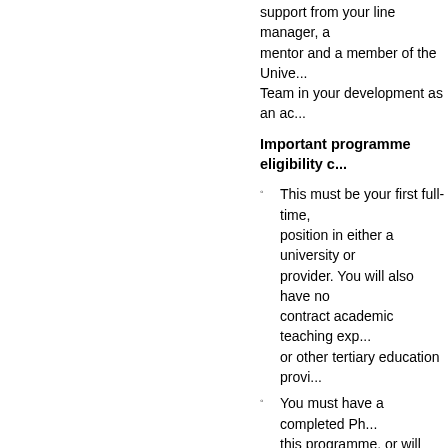support from your line manager, a mentor and a member of the University Team in your development as an ac...
Important programme eligibility c...
This must be your first full-time, position in either a university or provider. You will also have no contract academic teaching exp... or other tertiary education provi...
You must have a completed Ph... this programme, or will have su... for examination by 22 February...
Programme is open to applican... genealogical descent
You must be able to start befor...
AUT already has over 30,000 adve... educators, researchers and studen... boundaries, challenge established ... discover what is possible… Join us...